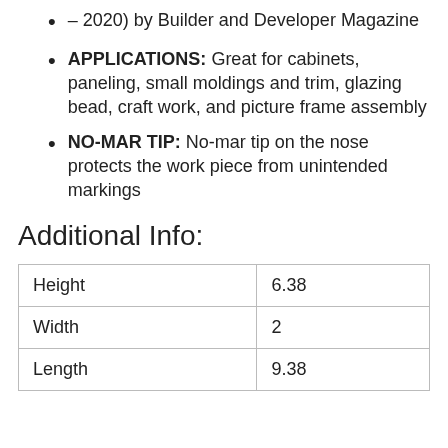– 2020) by Builder and Developer Magazine
APPLICATIONS: Great for cabinets, paneling, small moldings and trim, glazing bead, craft work, and picture frame assembly
NO-MAR TIP: No-mar tip on the nose protects the work piece from unintended markings
Additional Info:
| Height | 6.38 |
| Width | 2 |
| Length | 9.38 |